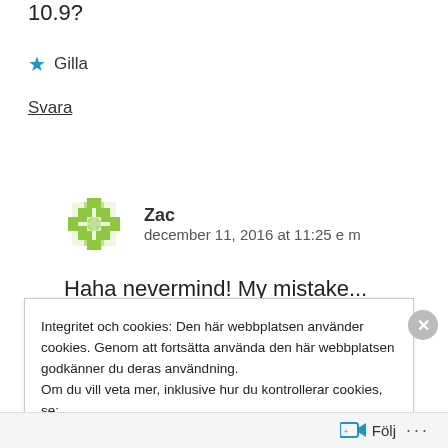10.9?
★ Gilla
Svara
Zac
december 11, 2016 at 11:25 e m
Haha nevermind! My mistake...
Integritet och cookies: Den här webbplatsen använder cookies. Genom att fortsätta använda den här webbplatsen godkänner du deras användning.
Om du vill veta mer, inklusive hur du kontrollerar cookies, se: Cookie-policy
Stäng och acceptera
Följ